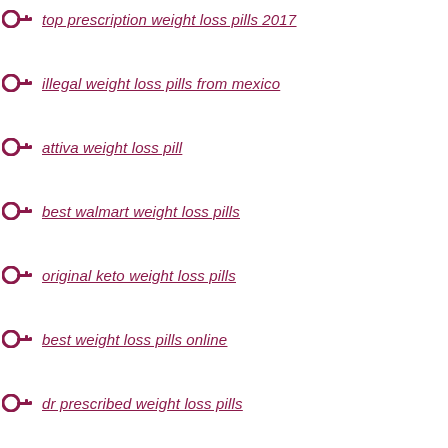top prescription weight loss pills 2017
illegal weight loss pills from mexico
attiva weight loss pill
best walmart weight loss pills
original keto weight loss pills
best weight loss pills online
dr prescribed weight loss pills
new weight loss gel pill
overnight weight loss pills
fast weight loss pills 2020